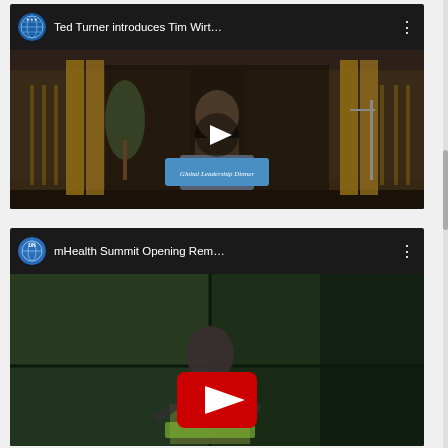[Figure (screenshot): YouTube video thumbnail card for 'Ted Turner introduces Tim Wirt...' showing a speaker at a podium with a Global Leadership Dinner sign, UN Foundation logo, white play button in center, dark ornate background with golden gates]
[Figure (screenshot): YouTube video thumbnail card for 'mHealth Summit Opening Rem...' showing a speaker on stage with green backdrop, UN Foundation logo, red YouTube play button in center, dark green background]